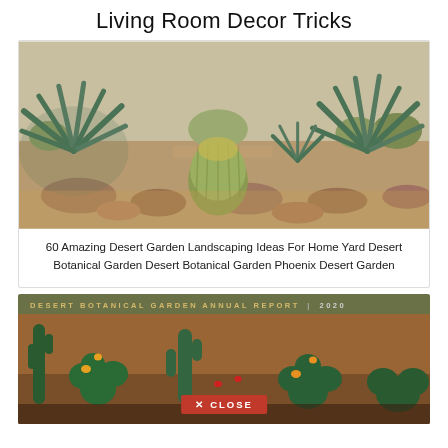Living Room Decor Tricks
[Figure (photo): Desert garden landscaping photo showing agave plants, barrel cactus, and desert rocks in a botanical garden setting]
60 Amazing Desert Garden Landscaping Ideas For Home Yard Desert Botanical Garden Desert Botanical Garden Phoenix Desert Garden
[Figure (photo): Desert Botanical Garden Annual Report 2020 cover with cactus garden photo and a red Close button overlay]
DESERT BOTANICAL GARDEN ANNUAL REPORT | 2020